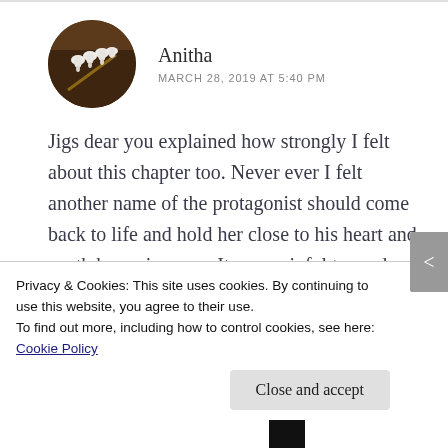[Figure (photo): Circular avatar photo of commenter Anitha, showing white flowers against a dark brown background]
Anitha
MARCH 28, 2019 AT 5:40 PM
Jigs dear you explained how strongly I felt about this chapter too. Never ever I felt another name of the protagonist should come back to life and hold her close to his heart and sooth her pain away. It was painful to read and You even felt the anger when Lavanya calls to remind Khushi about
Privacy & Cookies: This site uses cookies. By continuing to use this website, you agree to their use.
To find out more, including how to control cookies, see here: Cookie Policy
Close and accept